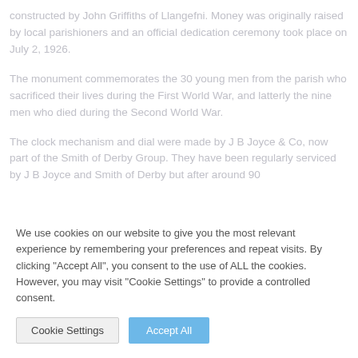constructed by John Griffiths of Llangefni. Money was originally raised by local parishioners and an official dedication ceremony took place on July 2, 1926.
The monument commemorates the 30 young men from the parish who sacrificed their lives during the First World War, and latterly the nine men who died during the Second World War.
The clock mechanism and dial were made by J B Joyce & Co, now part of the Smith of Derby Group. They have been regularly serviced by J B Joyce and Smith of Derby but after around 90
We use cookies on our website to give you the most relevant experience by remembering your preferences and repeat visits. By clicking "Accept All", you consent to the use of ALL the cookies. However, you may visit "Cookie Settings" to provide a controlled consent.
Cookie Settings
Accept All